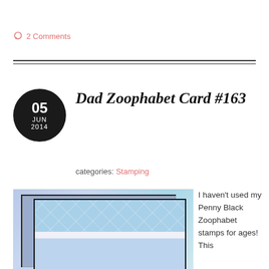2 Comments
Dad Zoophabet Card #163
categories: Stamping
[Figure (photo): A handmade greeting card with 'DAD' spelled out in decorative Zoophabet letters on a blue argyle background, shown with a purple card behind it]
I haven't used my Penny Black Zoophabet stamps for ages!  This